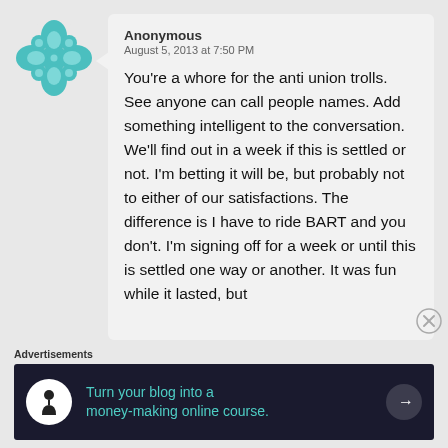[Figure (logo): Teal/turquoise decorative floral cross logo icon]
Anonymous
August 5, 2013 at 7:50 PM
You're a whore for the anti union trolls. See anyone can call people names. Add something intelligent to the conversation. We'll find out in a week if this is settled or not. I'm betting it will be, but probably not to either of our satisfactions. The difference is I have to ride BART and you don't. I'm signing off for a week or until this is settled one way or another. It was fun while it lasted, but
Advertisements
[Figure (infographic): Dark navy ad banner: circle icon with person/tree symbol, teal text 'Turn your blog into a money-making online course.' with right arrow button]